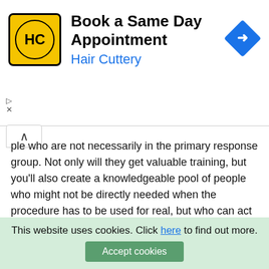[Figure (other): Hair Cuttery advertisement banner: Book a Same Day Appointment with Hair Cuttery logo and direction arrow icon]
ple who are not necessarily in the primary response group. Not only will they get valuable training, but you'll also create a knowledgeable pool of people who might not be directly needed when the procedure has to be used for real, but who can act as key communicators with the rest of the community.
Iterate
When you finish a particular disaster recovery plan, you may think your job is done, but in fact your work is just beginning. Standardizing a process is actually just the firs
This website uses cookies. Click here to find out more. Accept cookies
You should make a regular, scheduled practice of pulling